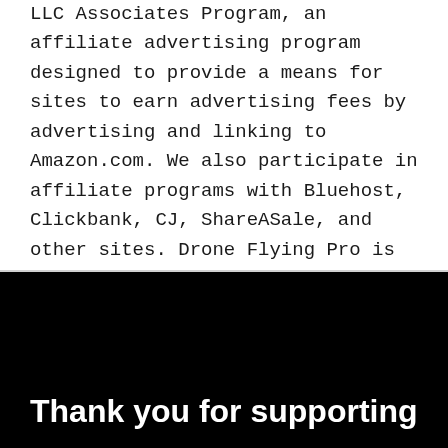LLC Associates Program, an affiliate advertising program designed to provide a means for sites to earn advertising fees by advertising and linking to Amazon.com. We also participate in affiliate programs with Bluehost, Clickbank, CJ, ShareASale, and other sites. Drone Flying Pro is compensated for referring traffic and business to these companies.
Thank you for supporting